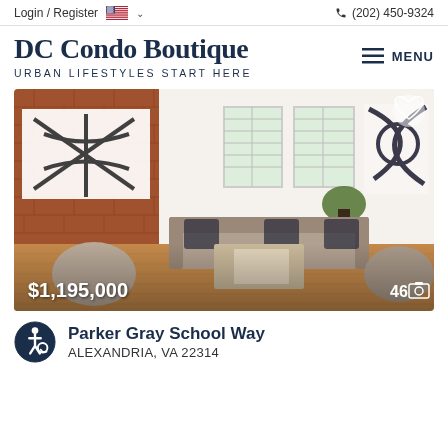Login / Register  (202) 450-9324
DC Condo Boutique
URBAN LIFESTYLES START HERE
[Figure (photo): Interior photo of a modern condo living room with exposed brick wall, neutral sectional sofa, coffee table, plantation shutters on windows, hardwood floors, and abstract wall art. Price overlay: $1,195,000. Photo count: 46.]
Parker Gray School Way
ALEXANDRIA, VA 22314